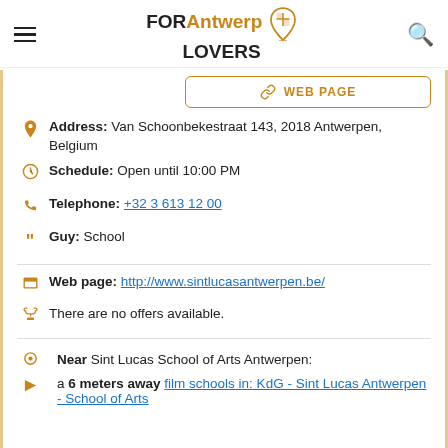FOR Antwerp LOVERS
[Figure (logo): FOR Antwerp LOVERS logo with map pin icon]
WEB PAGE button
Address: Van Schoonbekestraat 143, 2018 Antwerpen, Belgium
Schedule: Open until 10:00 PM
Telephone: +32 3 613 12 00
Guy: School
Web page: http://www.sintlucasantwerpen.be/
There are no offers available.
Near Sint Lucas School of Arts Antwerpen:
a 6 meters away film schools in: KdG - Sint Lucas Antwerpen - School of Arts